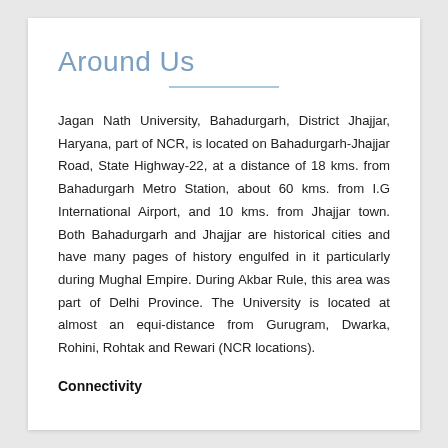Around Us
Jagan Nath University, Bahadurgarh, District Jhajjar, Haryana, part of NCR, is located on Bahadurgarh-Jhajjar Road, State Highway-22, at a distance of 18 kms. from Bahadurgarh Metro Station, about 60 kms. from I.G International Airport, and 10 kms. from Jhajjar town. Both Bahadurgarh and Jhajjar are historical cities and have many pages of history engulfed in it particularly during Mughal Empire. During Akbar Rule, this area was part of Delhi Province. The University is located at almost an equi-distance from Gurugram, Dwarka, Rohini, Rohtak and Rewari (NCR locations).
Connectivity